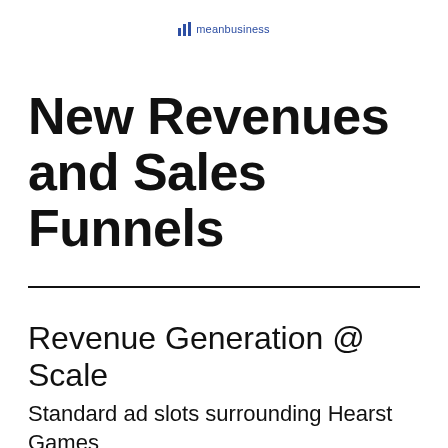meanBusiness
New Revenues and Sales Funnels
Revenue Generation @ Scale
Standard ad slots surrounding Hearst Games